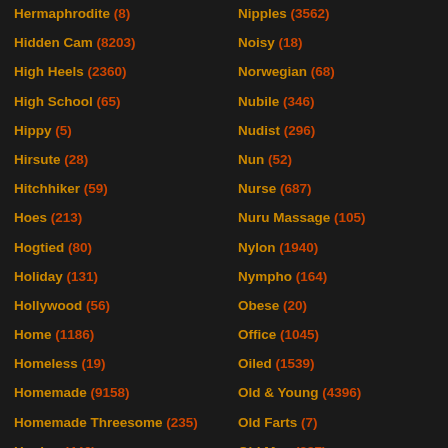Hermaphrodite (8)
Hidden Cam (8203)
High Heels (2360)
High School (65)
Hippy (5)
Hirsute (28)
Hitchhiker (59)
Hoes (213)
Hogtied (80)
Holiday (131)
Hollywood (56)
Home (1186)
Homeless (19)
Homemade (9158)
Homemade Threesome (235)
Hooker (446)
Nipples (3562)
Noisy (18)
Norwegian (68)
Nubile (346)
Nudist (296)
Nun (52)
Nurse (687)
Nuru Massage (105)
Nylon (1940)
Nympho (164)
Obese (20)
Office (1045)
Oiled (1539)
Old & Young (4396)
Old Farts (7)
Old Man (397)